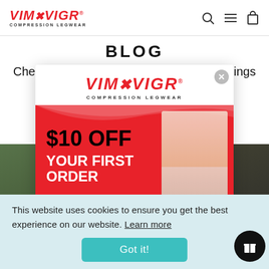VIM&VIGR COMPRESSION LEGWEAR
BLOG
Check things
[Figure (logo): VIM&VIGR COMPRESSION LEGWEAR logo in red with popup modal showing $10 OFF YOUR FIRST ORDER promo on red background with wave design]
[Figure (photo): Background images: plants on left, dark texture on right]
This website uses cookies to ensure you get the best experience on our website. Learn more
Got it!